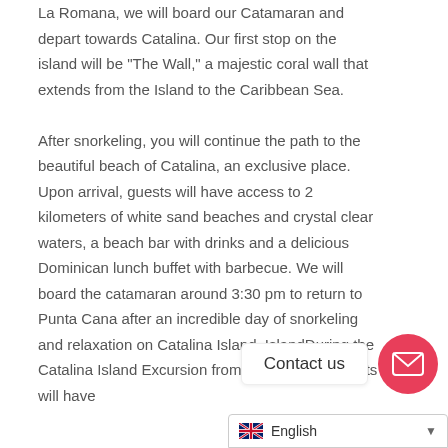La Romana, we will board our Catamaran and depart towards Catalina. Our first stop on the island will be "The Wall," a majestic coral wall that extends from the Island to the Caribbean Sea.

After snorkeling, you will continue the path to the beautiful beach of Catalina, an exclusive place. Upon arrival, guests will have access to 2 kilometers of white sand beaches and crystal clear waters, a beach bar with drinks and a delicious Dominican lunch buffet with barbecue. We will board the catamaran around 3:30 pm to return to Punta Cana after an incredible day of snorkeling and relaxation on Catalina Island. IslandDuring the Catalina Island Excursion from Punta Cana, guests will have